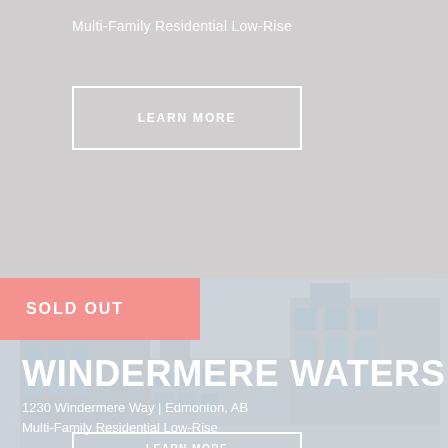Multi-Family Residential Low-Rise
LEARN MORE
[Figure (photo): Faded background photo of multi-family residential low-rise building complex with light grey/blue sky]
SOLD OUT
WINDERMERE WATERS
1230 Windermere Way | Edmonton, AB
Multi-Family Residential Low-Rise
LEARN MORE